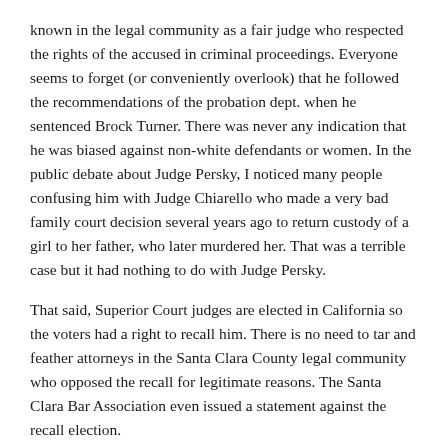known in the legal community as a fair judge who respected the rights of the accused in criminal proceedings. Everyone seems to forget (or conveniently overlook) that he followed the recommendations of the probation dept. when he sentenced Brock Turner. There was never any indication that he was biased against non-white defendants or women. In the public debate about Judge Persky, I noticed many people confusing him with Judge Chiarello who made a very bad family court decision several years ago to return custody of a girl to her father, who later murdered her. That was a terrible case but it had nothing to do with Judge Persky.
That said, Superior Court judges are elected in California so the voters had a right to recall him. There is no need to tar and feather attorneys in the Santa Clara County legal community who opposed the recall for legitimate reasons. The Santa Clara Bar Association even issued a statement against the recall election.
↩ REPLY